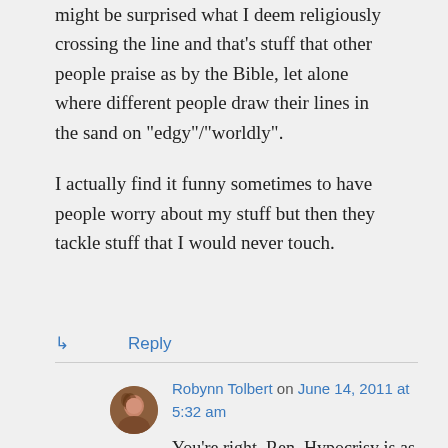might be surprised what I deem religiously crossing the line and that's stuff that other people praise as by the Bible, let alone where different people draw their lines in the sand on “edgy”/“worldly”.
I actually find it funny sometimes to have people worry about my stuff but then they tackle stuff that I would never touch.
↳ Reply
Robynn Tolbert on June 14, 2011 at 5:32 am
You’re right, Ren. Hypocrisy is as much the human condition as